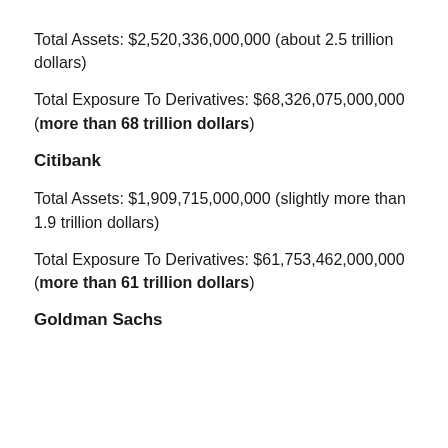Total Assets: $2,520,336,000,000 (about 2.5 trillion dollars)
Total Exposure To Derivatives: $68,326,075,000,000 (more than 68 trillion dollars)
Citibank
Total Assets: $1,909,715,000,000 (slightly more than 1.9 trillion dollars)
Total Exposure To Derivatives: $61,753,462,000,000 (more than 61 trillion dollars)
Goldman Sachs